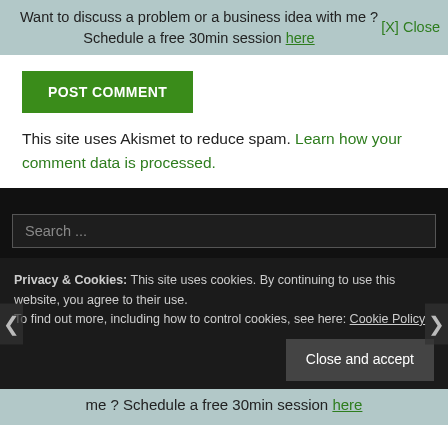Want to discuss a problem or a business idea with me ? Schedule a free 30min session here   [X] Close
POST COMMENT
This site uses Akismet to reduce spam. Learn how your comment data is processed.
Search ...
Privacy & Cookies: This site uses cookies. By continuing to use this website, you agree to their use.
To find out more, including how to control cookies, see here: Cookie Policy
Close and accept
me ? Schedule a free 30min session here